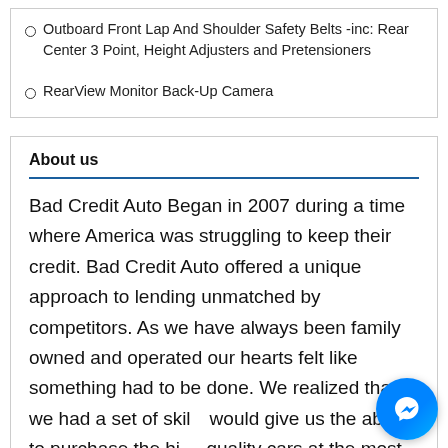Outboard Front Lap And Shoulder Safety Belts -inc: Rear Center 3 Point, Height Adjusters and Pretensioners
RearView Monitor Back-Up Camera
About us
Bad Credit Auto Began in 2007 during a time where America was struggling to keep their credit. Bad Credit Auto offered a unique approach to lending unmatched by competitors. As we have always been family owned and operated our hearts felt like something had to be done. We realized that we had a set of skills would give us the ability to purchase the high quality cars at the most competitive prices. The